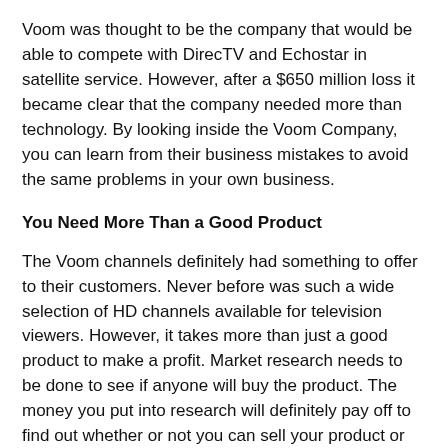Voom was thought to be the company that would be able to compete with DirecTV and Echostar in satellite service. However, after a $650 million loss it became clear that the company needed more than technology. By looking inside the Voom Company, you can learn from their business mistakes to avoid the same problems in your own business.
You Need More Than a Good Product
The Voom channels definitely had something to offer to their customers. Never before was such a wide selection of HD channels available for television viewers. However, it takes more than just a good product to make a profit. Market research needs to be done to see if anyone will buy the product. The money you put into research will definitely pay off to find out whether or not you can sell your product or not. You need to find out if you can make a valuable return on your investment or not. In the Voom case, their investment obviously did not provide the company with a profit.